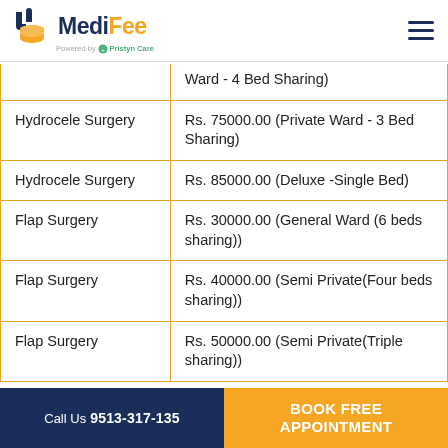MediFee | Powered by Pristyn Care
| Surgery | Cost |
| --- | --- |
|  | Ward - 4 Bed Sharing) |
| Hydrocele Surgery | Rs. 75000.00 (Private Ward - 3 Bed Sharing) |
| Hydrocele Surgery | Rs. 85000.00 (Deluxe -Single Bed) |
| Flap Surgery | Rs. 30000.00 (General Ward (6 beds sharing)) |
| Flap Surgery | Rs. 40000.00 (Semi Private(Four beds sharing)) |
| Flap Surgery | Rs. 50000.00 (Semi Private(Triple sharing)) |
Call Us 9513-317-135 | BOOK FREE APPOINTMENT